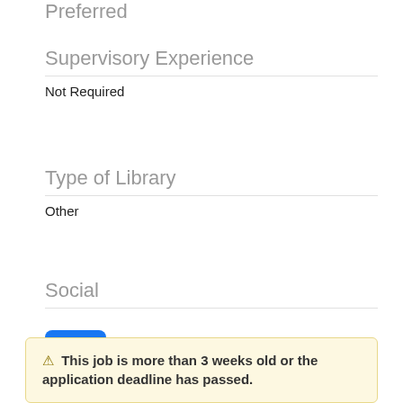Preferred
Supervisory Experience
Not Required
Type of Library
Other
Social
[Figure (logo): Facebook logo icon — blue square with white 'f' letter]
⚠ This job is more than 3 weeks old or the application deadline has passed.